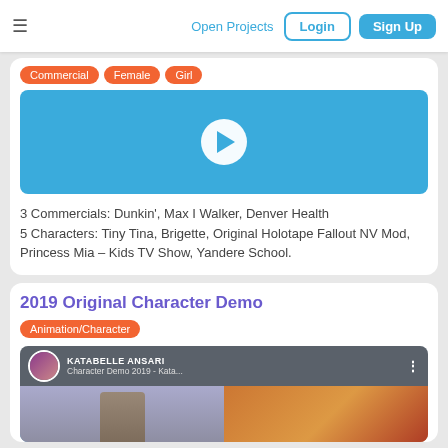Open Projects | Login | Sign Up
Commercial, Female, Girl
[Figure (other): Blue video player with white play button circle]
3 Commercials: Dunkin', Max I Walker, Denver Health
5 Characters: Tiny Tina, Brigette, Original Holotape Fallout NV Mod, Princess Mia – Kids TV Show, Yandere School.
2019 Original Character Demo
Animation/Character
[Figure (screenshot): YouTube video thumbnail for Katabelle Ansari Character Demo 2019 showing person and fantasy art]